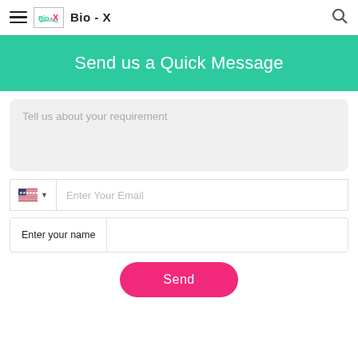Bio - X
Send us a Quick Message
Tell us about your requirement
Enter Your Email
Enter your name
Send